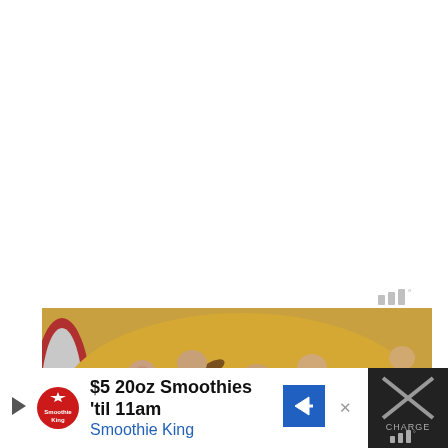[Figure (other): Weather icon showing bar chart style signal/bars with degree symbol, gray colored, positioned upper right area]
[Figure (photo): Close-up photo of a pie or tart topped with chocolate chips and pecan nuts on a yellow/caramel filling, in a foil pie dish]
[Figure (other): Advertisement banner: black background with white content area. Play triangle button, Smoothie King logo (red crown), text '$5 20oz Smoothies til 11am' and 'Smoothie King' in blue, blue arrow navigation icon. Right side dark panel with X marks, 'CHARGE' text, weather bars icon.]